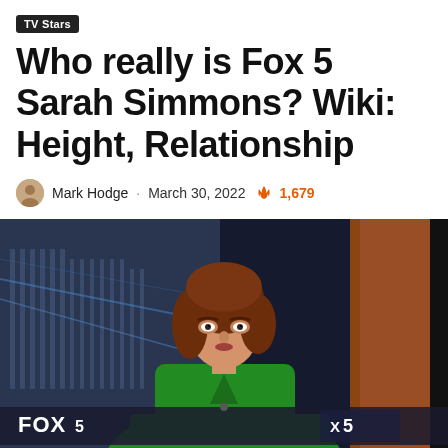TV Stars
Who really is Fox 5 Sarah Simmons? Wiki: Height, Relationship
Mark Hodge · March 30, 2022 🔥 1,679
[Figure (photo): Sarah Simmons, a woman with auburn hair wearing a green top, seated at a Fox 5 news anchor desk with the Capitol building visible in background and Fox 5 logos visible on screen]